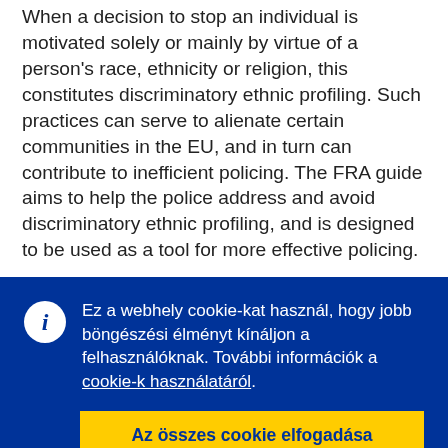When a decision to stop an individual is motivated solely or mainly by virtue of a person's race, ethnicity or religion, this constitutes discriminatory ethnic profiling. Such practices can serve to alienate certain communities in the EU, and in turn can contribute to inefficient policing. The FRA guide aims to help the police address and avoid discriminatory ethnic profiling, and is designed to be used as a tool for more effective policing.
Ez a webhely cookie-kat használ, hogy jobb böngészési élményt kínáljon a felhasználóknak. További információk a cookie-k használatáról.
Az összes cookie elfogadása
Csak az alapvető cookie-k elfogadása